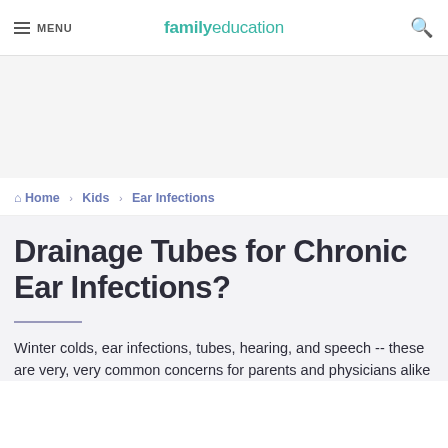MENU | familyeducation
[Figure (other): Advertisement/empty white space area]
Home › Kids › Ear Infections
Drainage Tubes for Chronic Ear Infections?
Winter colds, ear infections, tubes, hearing, and speech -- these are very, very common concerns for parents and physicians alike